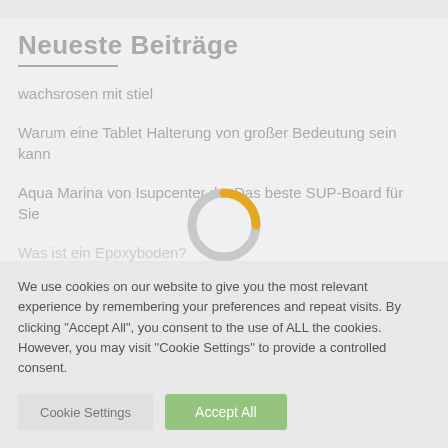Neueste Beiträge
wachsrosen mit stiel
Warum eine Tablet Halterung von großer Bedeutung sein kann
Aqua Marina von Isupcenter.de: Das beste SUP-Board für Sie
Was ist ein Epoxyboden?
[Figure (other): Loading spinner/progress ring with orange accent on gray ring]
We use cookies on our website to give you the most relevant experience by remembering your preferences and repeat visits. By clicking "Accept All", you consent to the use of ALL the cookies. However, you may visit "Cookie Settings" to provide a controlled consent.
Cookie Settings    Accept All